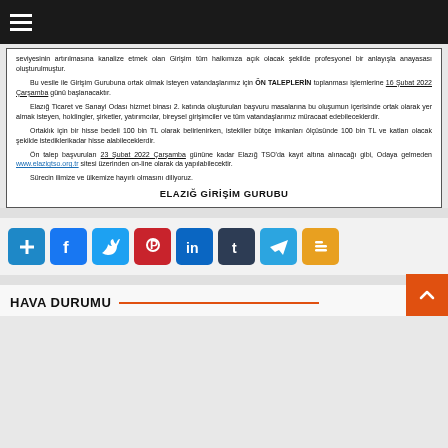Navigation bar with hamburger menu
seviyesinin artırılmasına kanalize etmek olan Girişim tüm halkımıza açık olacak şekilde profesyonel bir anlayışla anayasası oluşturulmuştur.
Bu vesile ile Girişim Gurubuna ortak olmak isteyen vatandaşlarımız için ÖN TALEPLERİN toplanması işlemlerine 16 Şubat 2022 Çarşamba günü başlanacaktır.
Elazığ Ticaret ve Sanayi Odası hizmet binası 2. katında oluşturulan başvuru masalarına bu oluşumun içerisinde ortak olarak yer almak isteyen, holdingler, şirketler, yatırımcılar, bireysel girişimciler ve tüm vatandaşlarımız müracaat edebileceklerdir.
Ortaklık için bir hisse bedeli 100 bin TL olarak belirlenirken, istekliler bütçe imkanları ölçüsünde 100 bin TL ve katları olacak şekilde istediklerikadar hisse alabileceklerdir.
Ön talep başvuruları 23 Şubat 2022 Çarşamba gününe kadar Elazığ TSO'da kayıt altına alınacağı gibi, Odaya gelmeden www.elazigtso.org.tr sitesi üzerinden on-line olarak da yapılabilecektir.
Sürecin ilimize ve ülkemize hayırlı olmasını diliyoruz.
ELAZIĞ GİRİŞİM GURUBU
[Figure (infographic): Row of social media sharing icons: Add/Plus (blue), Facebook (blue), Twitter (light blue), Pinterest (red), LinkedIn (dark blue), Tumblr (dark navy), Telegram (teal), Blogger (orange)]
HAVA DURUMU